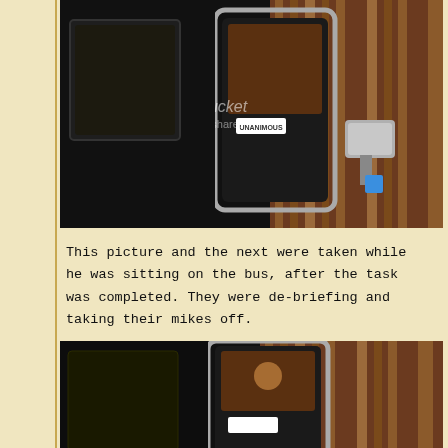[Figure (photo): Photo of the front of a dark bus/vehicle taken from outside, showing large side mirrors and windows reflecting wood-paneled interior. A white label reading 'UNANIMOUS' is visible at the bottom. A Photobucket watermark overlays the image.]
This picture and the next were taken while he was sitting on the bus, after the task was completed. They were de-briefing and taking their mikes off.
[Figure (photo): Partial photo of the same or similar dark bus/vehicle, showing the front door and windows with wood-paneled interior visible through the glass, cropped at the bottom of the page.]